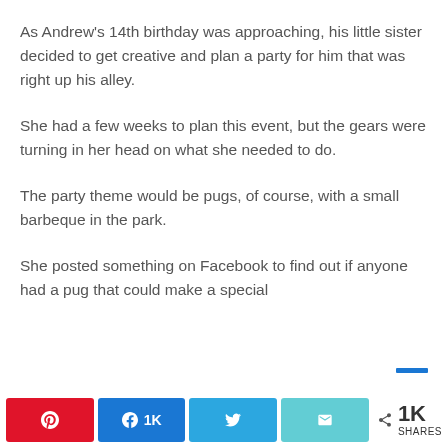As Andrew’s 14th birthday was approaching, his little sister decided to get creative and plan a party for him that was right up his alley.
She had a few weeks to plan this event, but the gears were turning in her head on what she needed to do.
The party theme would be pugs, of course, with a small barbeque in the park.
She posted something on Facebook to find out if anyone had a pug that could make a special
A 1K shares | f 1K | bird icon | mail icon | < 1K SHARES